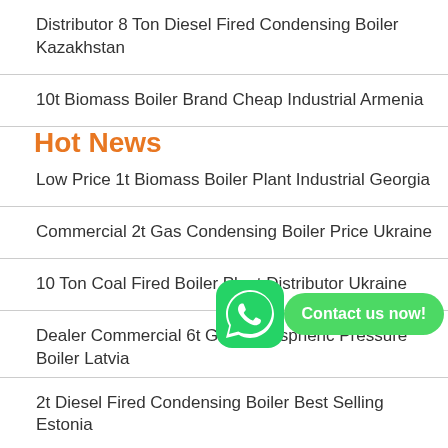Distributor 8 Ton Diesel Fired Condensing Boiler Kazakhstan
10t Biomass Boiler Brand Cheap Industrial Armenia
Hot News
Low Price 1t Biomass Boiler Plant Industrial Georgia
Commercial 2t Gas Condensing Boiler Price Ukraine
10 Ton Coal Fired Boiler Plant Distributor Ukraine
Dealer Commercial 6t Gas Atmospheric Pressure Boiler Latvia
2t Diesel Fired Condensing Boiler Best Selling Estonia
6t Biomass Fired Boiler Brand Agent Latvia